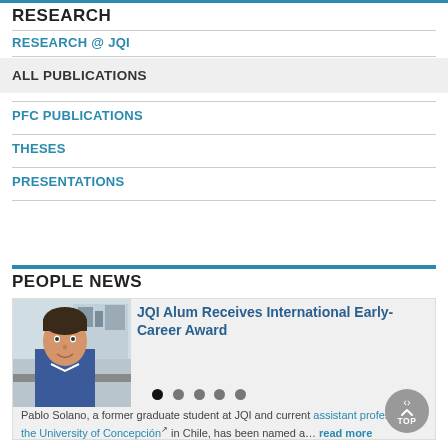RESEARCH
RESEARCH @ JQI
ALL PUBLICATIONS
PFC PUBLICATIONS
THESES
PRESENTATIONS
PEOPLE NEWS
[Figure (photo): Photo of Pablo Solano, a young man in a blue shirt standing in a laboratory setting]
JQI Alum Receives International Early-Career Award
Pablo Solano, a former graduate student at JQI and current assistant professor at the University of Concepción in Chile, has been named a… read more